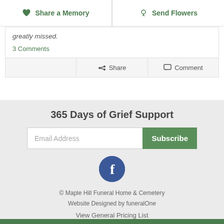Share a Memory | Send Flowers
greatly missed.
3 Comments
Share   Comment
365 Days of Grief Support
Email Address  Subscribe
[Figure (logo): Facebook logo circle button]
© Maple Hill Funeral Home & Cemetery
Website Designed by funeralOne
View General Pricing List